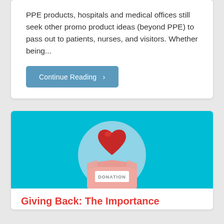PPE products, hospitals and medical offices still seek other promo product ideas (beyond PPE) to pass out to patients, nurses, and visitors. Whether being...
Continue Reading >
[Figure (illustration): Illustration of a donation box with a red heart floating above it, on a cyan/light blue background with a circular light blue backdrop.]
Giving Back: The Importance